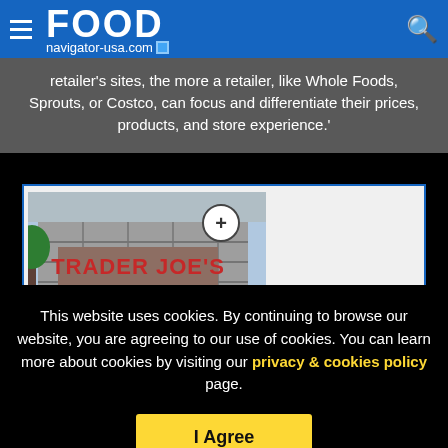FOOD navigator-usa.com
retailer’s sites, the more a retailer, like Whole Foods, Sprouts, or Costco, can focus and differentiate their prices, products, and store experience.'
[Figure (photo): Trader Joe’s store exterior showing stone facade with red lettering and a zoom/enlarge icon overlay]
This website uses cookies. By continuing to browse our website, you are agreeing to our use of cookies. You can learn more about cookies by visiting our privacy & cookies policy page.
I Agree